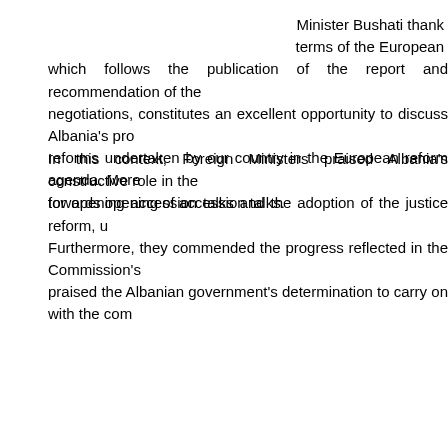Minister Bushati thank terms of the European which follows the publication of the report and recommendation of the negotiations, constitutes an excellent opportunity to discuss Albania's prog reforms undertaken by our country in the European reform agenda. Moreo towards opening of accession talks.
In this context, Foreign Ministers praised Albania's constructive role in the for opening accession talks and the adoption of the justice reform, u Furthermore, they commended the progress reflected in the Commission's praised the Albanian government's determination to carry on with the comp